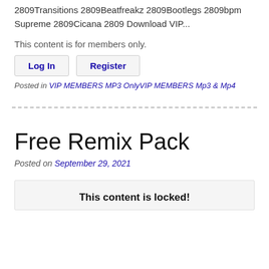2809Transitions 2809Beatfreakz 2809Bootlegs 2809bpm Supreme 2809Cicana 2809 Download VIP...
This content is for members only.
Log In  Register
Posted in VIP MEMBERS MP3 OnlyVIP MEMBERS Mp3 & Mp4
Free Remix Pack
Posted on September 29, 2021
This content is locked!